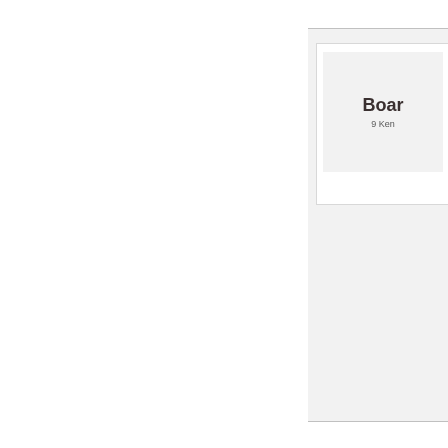[Figure (other): Partial view of a board/notice panel showing 'Boar' (truncated) and '9 Ken' (truncated) text on a card within a light grey panel with border lines at top and bottom]